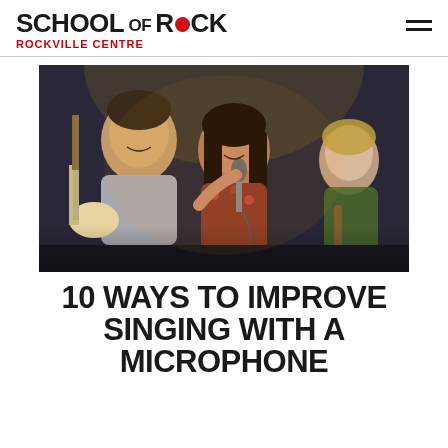SCHOOL OF ROCK — ROCKVILLE CENTRE
[Figure (photo): Three young musicians performing on stage. A teenage boy on the left holding an electric guitar, a girl in the center leaning into a microphone and smiling, and another girl with a guitar visible in the background. Stage lighting creates a warm atmosphere.]
10 WAYS TO IMPROVE SINGING WITH A MICROPHONE